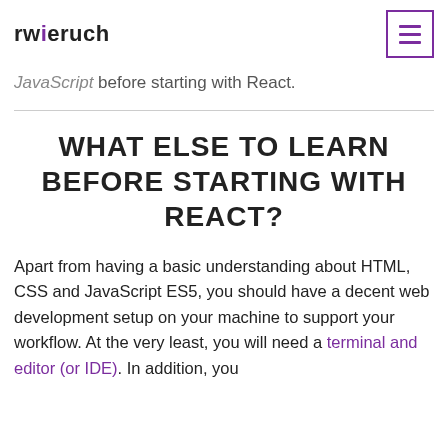rwieruch
JavaScript before starting with React.
WHAT ELSE TO LEARN BEFORE STARTING WITH REACT?
Apart from having a basic understanding about HTML, CSS and JavaScript ES5, you should have a decent web development setup on your machine to support your workflow. At the very least, you will need a terminal and editor (or IDE). In addition, you